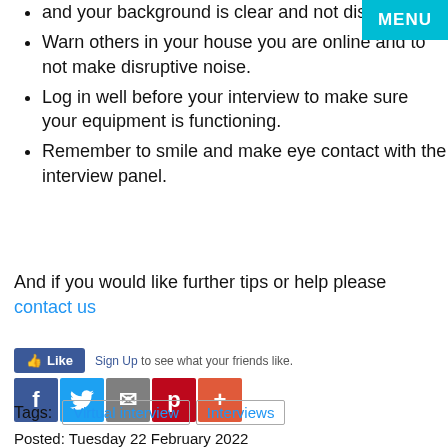MENU
and your background is clear and not distracting.
Warn others in your house you are online and to not make disruptive noise.
Log in well before your interview to make sure your equipment is functioning.
Remember to smile and make eye contact with the interview panel.
And if you would like further tips or help please contact us
[Figure (other): Social media sharing bar with Like button, Facebook, Twitter, Email, Pinterest, and plus icons, and sign up text]
Tags: Virtual interview   Interviews
Posted: Tuesday 22 February 2022